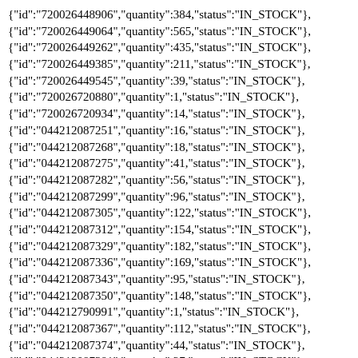{"id":"720026448906","quantity":384,"status":"IN_STOCK"},
{"id":"720026449064","quantity":565,"status":"IN_STOCK"},
{"id":"720026449262","quantity":435,"status":"IN_STOCK"},
{"id":"720026449385","quantity":211,"status":"IN_STOCK"},
{"id":"720026449545","quantity":39,"status":"IN_STOCK"},
{"id":"720026720880","quantity":1,"status":"IN_STOCK"},
{"id":"720026720934","quantity":14,"status":"IN_STOCK"},
{"id":"044212087251","quantity":16,"status":"IN_STOCK"},
{"id":"044212087268","quantity":18,"status":"IN_STOCK"},
{"id":"044212087275","quantity":41,"status":"IN_STOCK"},
{"id":"044212087282","quantity":56,"status":"IN_STOCK"},
{"id":"044212087299","quantity":96,"status":"IN_STOCK"},
{"id":"044212087305","quantity":122,"status":"IN_STOCK"},
{"id":"044212087312","quantity":154,"status":"IN_STOCK"},
{"id":"044212087329","quantity":182,"status":"IN_STOCK"},
{"id":"044212087336","quantity":169,"status":"IN_STOCK"},
{"id":"044212087343","quantity":95,"status":"IN_STOCK"},
{"id":"044212087350","quantity":148,"status":"IN_STOCK"},
{"id":"044212790991","quantity":1,"status":"IN_STOCK"},
{"id":"044212087367","quantity":112,"status":"IN_STOCK"},
{"id":"044212087374","quantity":44,"status":"IN_STOCK"},
{"id":"044212087381","quantity":27,"status":"IN_STOCK"},
{"id":"044212087527","quantity":0,"status":"NOT_AVAILABLE"},
{"id":"044212087534","quantity":0,"status":"NOT_AVAILABLE"},
{"id":"044212087541","quantity":6,"status":"IN_STOCK"},